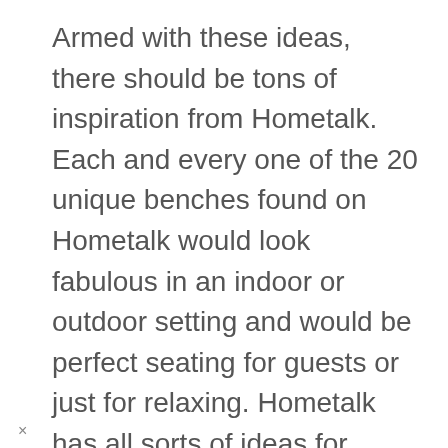Armed with these ideas, there should be tons of inspiration from Hometalk. Each and every one of the 20 unique benches found on Hometalk would look fabulous in an indoor or outdoor setting and would be perfect seating for guests or just for relaxing. Hometalk has all sorts of ideas for many projects and is one of my favorite go-to resources! I know I can always find something awesome over there.
×